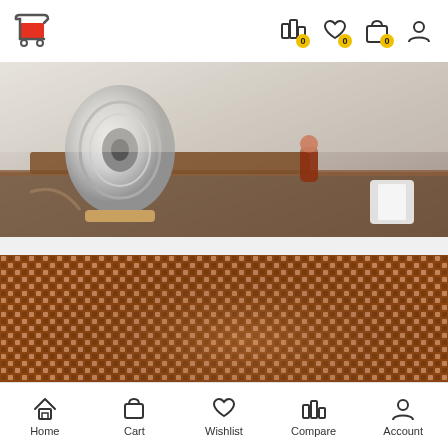[Figure (screenshot): E-commerce app header with red shopping cart logo on left, and icons (compare with badge 0, wishlist with badge 0, cart with badge 0, account) on right]
[Figure (photo): Photo of a white speaker/audio device on a wooden shelf with small figurines and a white mug in the background]
[Figure (photo): Close-up macro photo of woven brown/copper textured fabric or speaker grille material with a metallic ring visible at bottom right]
[Figure (screenshot): Mobile app bottom navigation bar with icons: Home, Cart, Wishlist, Compare, Account]